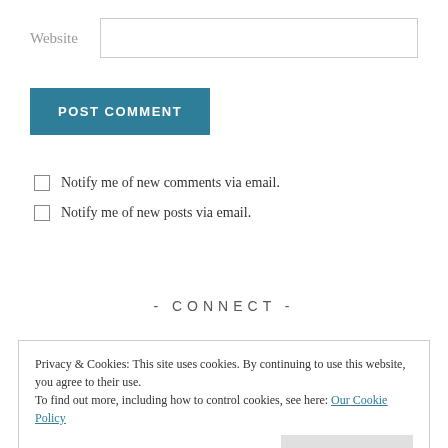Website
[Figure (other): Text input field for website URL]
[Figure (other): POST COMMENT button, teal/blue background]
Notify me of new comments via email.
Notify me of new posts via email.
- CONNECT -
Privacy & Cookies: This site uses cookies. By continuing to use this website, you agree to their use.
To find out more, including how to control cookies, see here: Our Cookie Policy
Close and accept